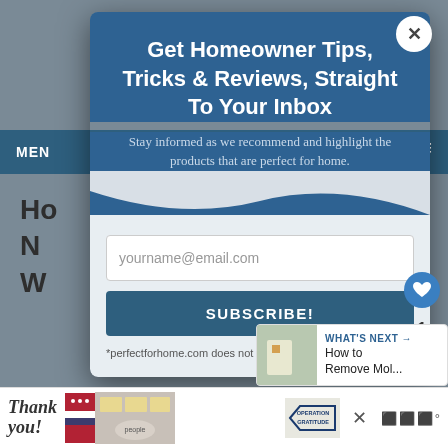[Figure (screenshot): Website background showing a navigation menu bar and partial page title]
Get Homeowner Tips, Tricks & Reviews, Straight To Your Inbox
Stay informed as we recommend and highlight the products that are perfect for home.
yourname@email.com
SUBSCRIBE!
*perfectforhome.com does not share your email with
WHAT'S NEXT → How to Remove Mol...
[Figure (photo): Ad banner at bottom showing Thank You text, people holding boxes, Operation Gratitude logo]